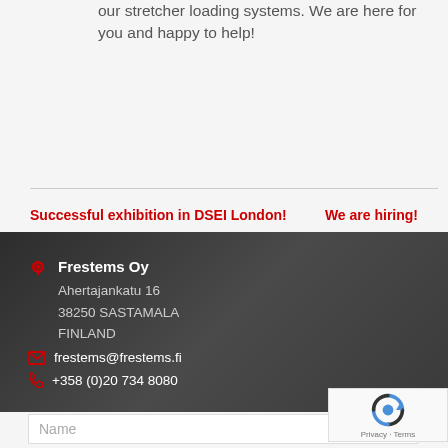our stretcher loading systems. We are here for you and happy to help!
Successful exhibition in DSEI London!
We are hiring!
Frestems Oy
Ahertajankatu 16
38250 SASTAMALA
FINLAND
frestems@frestems.fi
+358 (0)20 734 8080
Name